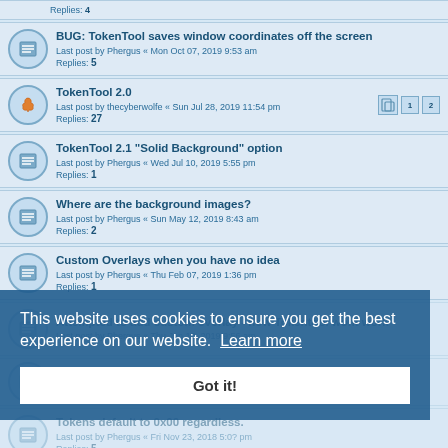Replies: 4
BUG: TokenTool saves window coordinates off the screen
Last post by Phergus « Mon Oct 07, 2019 9:53 am
Replies: 5
TokenTool 2.0
Last post by thecyberwolfe « Sun Jul 28, 2019 11:54 pm
Replies: 27
TokenTool 2.1 "Solid Background" option
Last post by Phergus « Wed Jul 10, 2019 5:55 pm
Replies: 1
Where are the background images?
Last post by Phergus « Sun May 12, 2019 8:43 am
Replies: 2
Custom Overlays when you have no idea
Last post by Phergus « Thu Feb 07, 2019 1:36 pm
Replies: 1
Attempted to add custom overlay - now Tokentool wont work
Last post by Phergus « Thu Jan 10, 2019 9:56 am
Last post by Phergus « Tue Jan 08, 2019 2:09 pm
Replies: 4
Tokens default to 0x00 regardless.
Last post by Phergus « Fri Nov 23, 2018 5:0? pm
Replies: 5
No window
This website uses cookies to ensure you get the best experience on our website. Learn more
Got it!